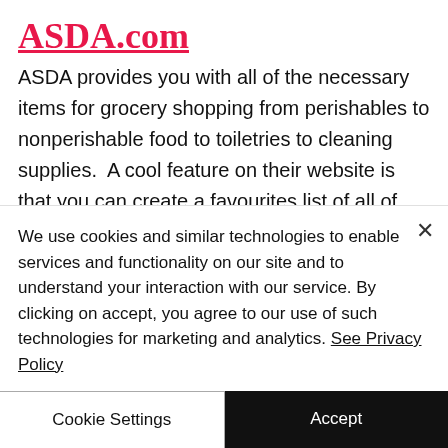[Figure (logo): ASDA.com logo in pink/red cursive font with underline]
ASDA provides you with all of the necessary items for grocery shopping from perishables to nonperishable food to toiletries to cleaning supplies.  A cool feature on their website is that you can create a favourites list of all of your favourite items you may frequently purchase.  You can also save the recipes they provide as a saved recipe item.  It's
We use cookies and similar technologies to enable services and functionality on our site and to understand your interaction with our service. By clicking on accept, you agree to our use of such technologies for marketing and analytics. See Privacy Policy
Cookie Settings
Accept